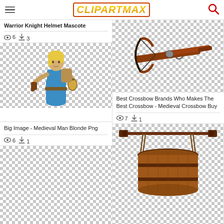CLIPARTMAX
Warrior Knight Helmet Mascote
6 views  3 downloads
[Figure (illustration): Medieval blonde woman in blue tunic holding a lantern, with a backpack, on checkerboard transparent background]
Big Image - Medieval Man Blonde Png
6 views  1 download
[Figure (illustration): Medieval crossbow on checkerboard transparent background]
Best Crossbow Brands Who Makes The Best Crossbow - Medieval Crossbow Buy
7 views  1 download
[Figure (illustration): Medieval wooden barrel or bucket hanging from a chain on checkerboard transparent background]